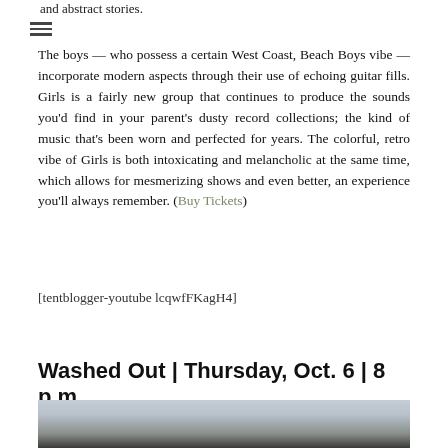and abstract stories.
The boys — who possess a certain West Coast, Beach Boys vibe — incorporate modern aspects through their use of echoing guitar fills. Girls is a fairly new group that continues to produce the sounds you'd find in your parent's dusty record collections; the kind of music that's been worn and perfected for years. The colorful, retro vibe of Girls is both intoxicating and melancholic at the same time, which allows for mesmerizing shows and even better, an experience you'll always remember. (Buy Tickets)
[tentblogger-youtube lcqwfFKagH4]
Washed Out | Thursday, Oct. 6 | 8 p.m.
[Figure (photo): Landscape photo showing a dark silhouette of hills or mountains against a light sky, likely a twilight or dusk scene.]